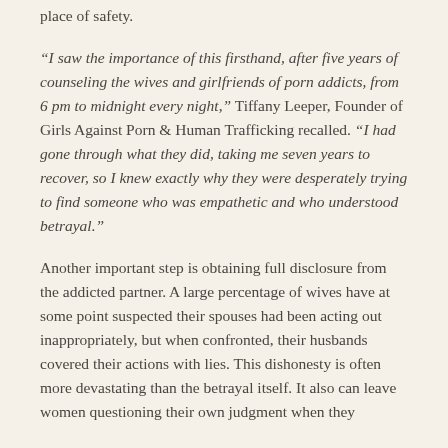place of safety.
“I saw the importance of this firsthand, after five years of counseling the wives and girlfriends of porn addicts, from 6 pm to midnight every night,” Tiffany Leeper, Founder of Girls Against Porn & Human Trafficking recalled. “I had gone through what they did, taking me seven years to recover, so I knew exactly why they were desperately trying to find someone who was empathetic and who understood betrayal.”
Another important step is obtaining full disclosure from the addicted partner. A large percentage of wives have at some point suspected their spouses had been acting out inappropriately, but when confronted, their husbands covered their actions with lies. This dishonesty is often more devastating than the betrayal itself. It also can leave women questioning their own judgment when they